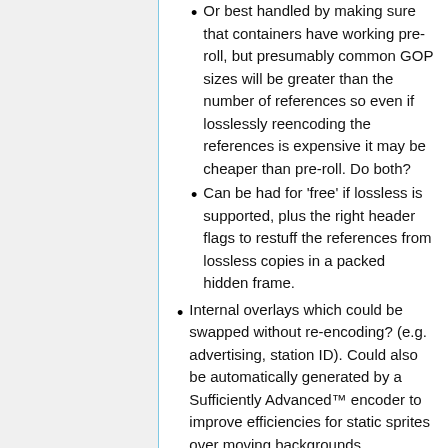Or best handled by making sure that containers have working pre-roll, but presumably common GOP sizes will be greater than the number of references so even if losslessly reencoding the references is expensive it may be cheaper than pre-roll. Do both?
Can be had for 'free' if lossless is supported, plus the right header flags to restuff the references from lossless copies in a packed hidden frame.
Internal overlays which could be swapped without re-encoding? (e.g. advertising, station ID). Could also be automatically generated by a Sufficiently Advanced™ encoder to improve efficiencies for static sprites over moving backgrounds.